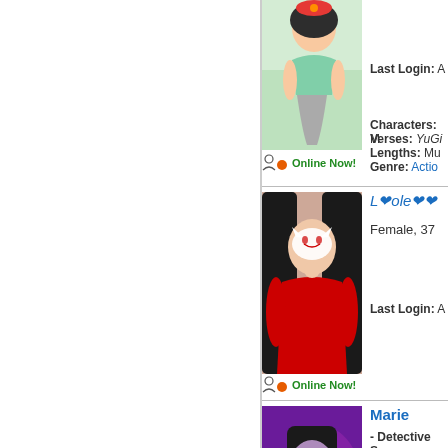[Figure (illustration): Anime-style girl with green outfit sitting, illustrated]
Online Now!
Last Login: A
Characters: M
Verses: YuGi...
Lengths: Mul...
Genre: Actio...
[Figure (illustration): Anime character with red outfit and fox mask, dark hair]
L❤ole❤❤
Female, 37
Online Now!
Last Login: A
[Figure (photo): Dark-haired woman in dark outfit against purple glowing background]
Marie
- Detective Su
Female, 34
Last Login: A
Characters: M